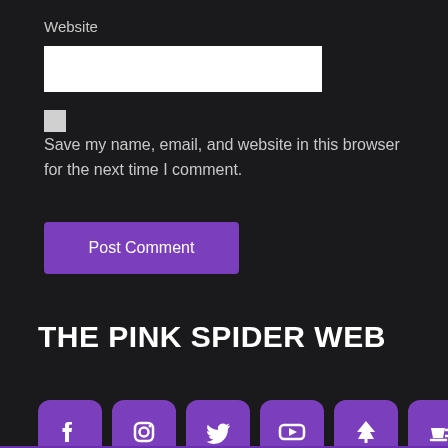Website
[Figure (screenshot): White text input box for website URL entry]
[Figure (screenshot): Checkbox (unchecked, light grey)]
Save my name, email, and website in this browser for the next time I comment.
[Figure (screenshot): Purple 'Post Comment' button]
THE PINK SPIDER WEB
[Figure (infographic): Row of 6 purple social media icon buttons: Facebook, Instagram, Twitter, YouTube, Linktree (pine tree), Ko-fi (coffee cup)]